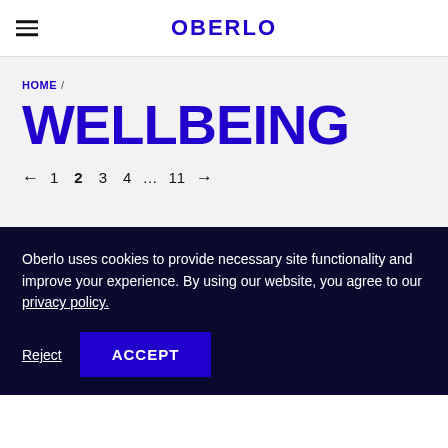OBERLO
HOME / WELLBEING
WELLBEING
← 1 2 3 4 … 11 →
Oberlo uses cookies to provide necessary site functionality and improve your experience. By using our website, you agree to our privacy policy.
Reject  ACCEPT